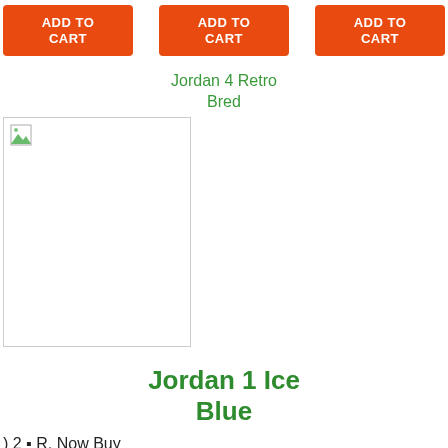ADD TO CART
ADD TO CART
ADD TO CART
Jordan 4 Retro Bred
[Figure (photo): Broken image placeholder for Jordan 4 Retro Bred product photo]
Jordan 1 Ice Blue
) 2 • R. Now Buy